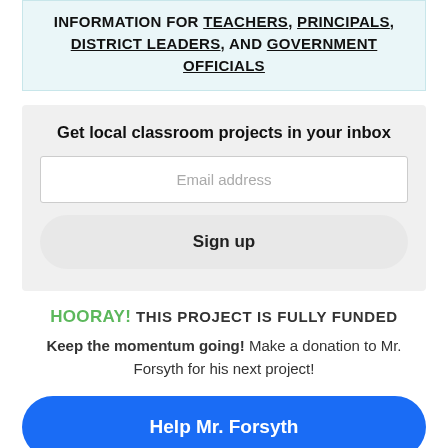INFORMATION FOR TEACHERS, PRINCIPALS, DISTRICT LEADERS, AND GOVERNMENT OFFICIALS
Get local classroom projects in your inbox
Email address
Sign up
HOORAY! THIS PROJECT IS FULLY FUNDED
Keep the momentum going! Make a donation to Mr. Forsyth for his next project!
Help Mr. Forsyth